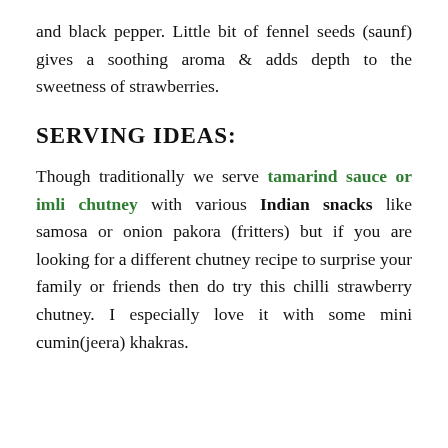and black pepper. Little bit of fennel seeds (saunf) gives a soothing aroma & adds depth to the sweetness of strawberries.
SERVING IDEAS:
Though traditionally we serve tamarind sauce or imli chutney with various Indian snacks like samosa or onion pakora (fritters) but if you are looking for a different chutney recipe to surprise your family or friends then do try this chilli strawberry chutney. I especially love it with some mini cumin(jeera) khakras.